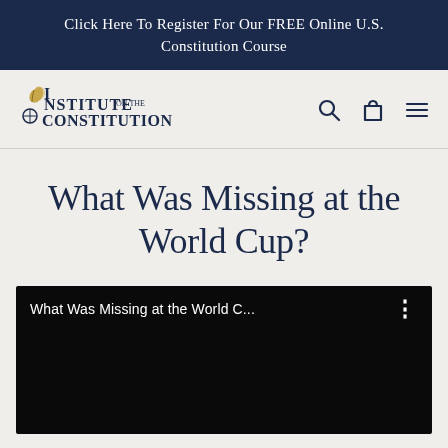Click Here To Register For Our FREE Online U.S. Constitution Course
[Figure (logo): Institute on the Constitution logo with quill pen and compass imagery]
What Was Missing at the World Cup?
[Figure (screenshot): Embedded video player with black background showing title 'What Was Missing at the World C...' and a three-dot menu icon]